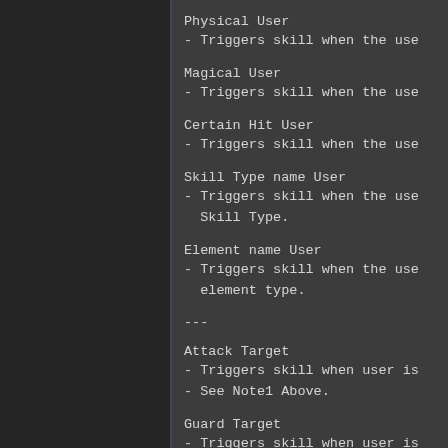Physical User
- Triggers skill when the use
Magical User
- Triggers skill when the use
Certain Hit User
- Triggers skill when the use
Skill Type name User
- Triggers skill when the use
  Skill Type.
Element name User
- Triggers skill when the use
  element type.
---
Attack Target
- Triggers skill when user is
- See Note1 Above.
Guard Target
- Triggers skill when user is